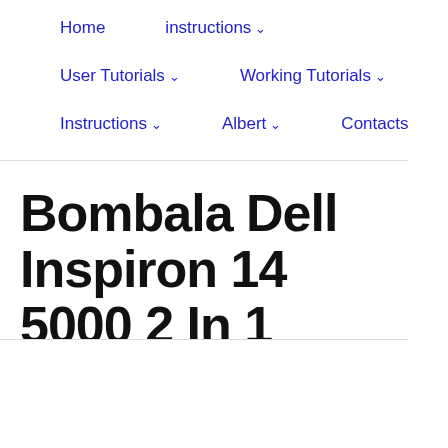Home   instructions ∨   User Tutorials ∨   Working Tutorials ∨   Instructions ∨   Albert ∨   Contacts
Bombala Dell Inspiron 14 5000 2 In 1 Manual